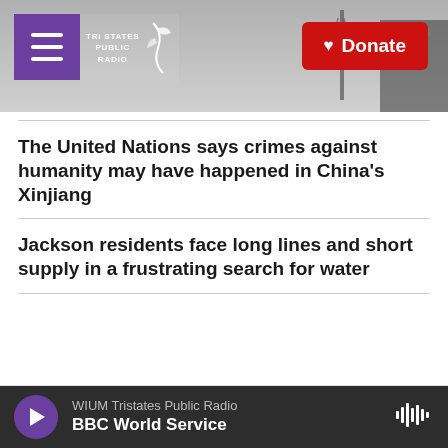Tri States Public Radio — Donate
The United Nations says crimes against humanity may have happened in China's Xinjiang
Jackson residents face long lines and short supply in a frustrating search for water
Related Content
WIUM Tristates Public Radio — BBC World Service